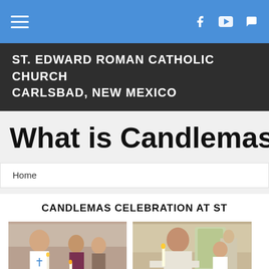ST. EDWARD ROMAN CATHOLIC CHURCH CARLSBAD, NEW MEXICO
What is Candlemas
Home
CANDLEMAS CELEBRATION AT ST
[Figure (photo): People holding candles during Candlemas celebration, including a child in white vestments]
[Figure (photo): Priest holding a candle at altar during Candlemas celebration with a boy in white beside him]